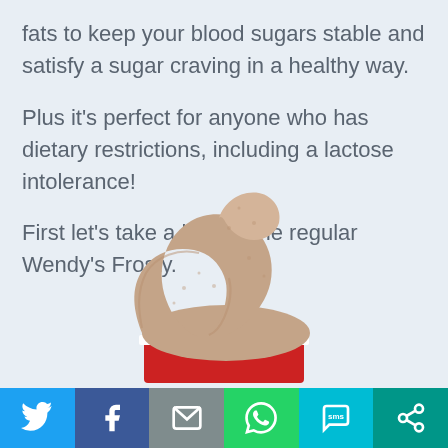fats to keep your blood sugars stable and satisfy a sugar craving in a healthy way.
Plus it's perfect for anyone who has dietary restrictions, including a lactose intolerance!
First let's take a look at the regular Wendy's Frosty.
[Figure (photo): A close-up of a Wendy's Frosty chocolate soft-serve ice cream swirl in a red cup, partially visible at the bottom of the image.]
[Figure (infographic): Social media share bar with six buttons: Twitter (blue), Facebook (dark blue), Email (gray), WhatsApp (green), SMS (cyan), and More/share (teal).]